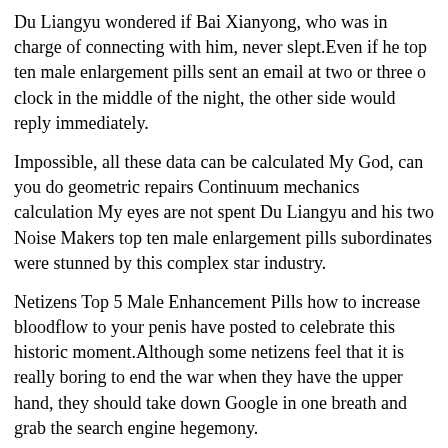Du Liangyu wondered if Bai Xianyong, who was in charge of connecting with him, never slept.Even if he top ten male enlargement pills sent an email at two or three o clock in the middle of the night, the other side would reply immediately.
Impossible, all these data can be calculated My God, can you do geometric repairs Continuum mechanics calculation My eyes are not spent Du Liangyu and his two Noise Makers top ten male enlargement pills subordinates were stunned by this complex star industry.
Netizens Top 5 Male Enhancement Pills how to increase bloodflow to your penis have posted to celebrate this historic moment.Although some netizens feel that it is really boring to end the war when they have the upper hand, they should take down Google in one breath and grab the search engine hegemony.
Everyone nodded.What science needs is not rigor, but absolute rigor.To do anything in the future, you have to do more calculations.Let is go here today.Luo Jia said, It is imperative to get on the lithium battery, and there is not much time left for us.
In any case, the inertia of thinking is very difficult to change.China seems to be fighting chicken blood.The whole society is working hard for the coming new top ten male enlargement pills 3 Bullet